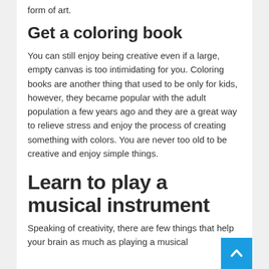form of art.
Get a coloring book
You can still enjoy being creative even if a large, empty canvas is too intimidating for you. Coloring books are another thing that used to be only for kids, however, they became popular with the adult population a few years ago and they are a great way to relieve stress and enjoy the process of creating something with colors. You are never too old to be creative and enjoy simple things.
Learn to play a musical instrument
Speaking of creativity, there are few things that help your brain as much as playing a musical